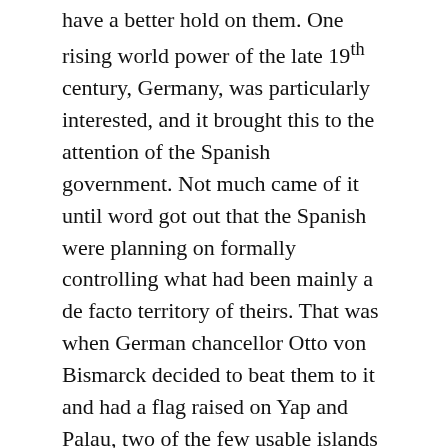have a better hold on them. One rising world power of the late 19th century, Germany, was particularly interested, and it brought this to the attention of the Spanish government. Not much came of it until word got out that the Spanish were planning on formally controlling what had been mainly a de facto territory of theirs. That was when German chancellor Otto von Bismarck decided to beat them to it and had a flag raised on Yap and Palau, two of the few usable islands in the whole chain, in an attempt to claim ownership.
That was a big mistake, if you know anything about Spanish protectiveness of small, mainly meaningless, international possessions. In 2002, 12 Moroccan soldiers landed on a tiny 40 acre land mass known as La Isla de Perejil, or Parsley Island. Perejil is only 500 feet off the coast of Morocco and anyone taking a quick glimpse at a map would